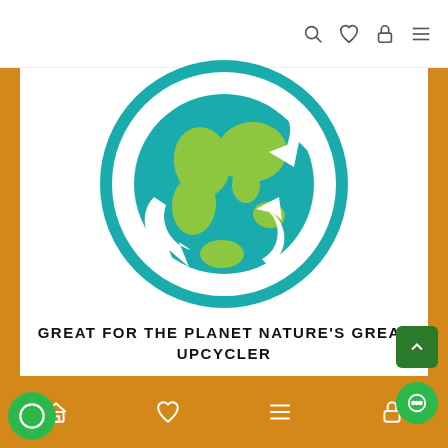Navigation header with search, heart, lock, and menu icons
[Figure (illustration): Globe with recycling arrows around it — teal/turquoise circle outline with white recycling arrows and a green/teal Earth globe showing continents]
GREAT FOR THE PLANET NATURE'S GREAT UPCYCLER
Bottom navigation bar with home, heart, menu, and lock icons